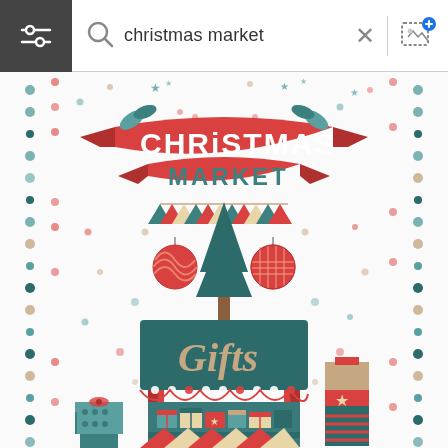[Figure (screenshot): App search bar with filter icon on the left, magnifying glass icon, search query 'christmas market', X close button, divider, and image upload icon on the right]
[Figure (illustration): Christmas Market gift stall illustration with red and teal color scheme. Features a banner reading 'CHRISTMAS MARKET' in red ribbon at top with decorative leaves. Below is a teal awning with 'Gifts' text in beige. A Christmas tree and ornament balls are above the stall. Decorative dot borders on left and right sides. Small triangular bunting flags across middle. Gift boxes piled around and inside the stall. Red and teal striped stall legs at bottom.]